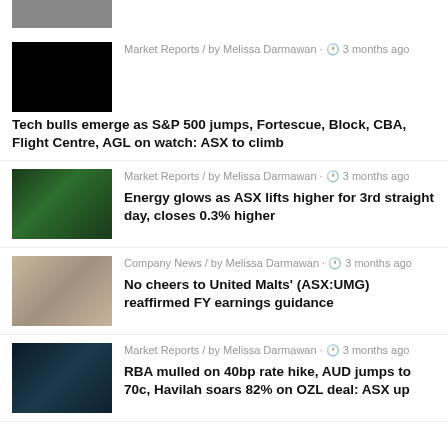[Figure (photo): Partial thumbnail image at top of page (cropped)]
Market Reports / by Melissa Darmawan · 3 months ago
Tech bulls emerge as S&P 500 jumps, Fortescue, Block, CBA, Flight Centre, AGL on watch: ASX to climb
Market Reports / by Melissa Darmawan · 3 months ago
Energy glows as ASX lifts higher for 3rd straight day, closes 0.3% higher
Company News / by Melissa Darmawan · 3 months ago
No cheers to United Malts' (ASX:UMG) reaffirmed FY earnings guidance
Market Reports / by Melissa Darmawan · 3 months ago
RBA mulled on 40bp rate hike, AUD jumps to 70c, Havilah soars 82% on OZL deal: ASX up